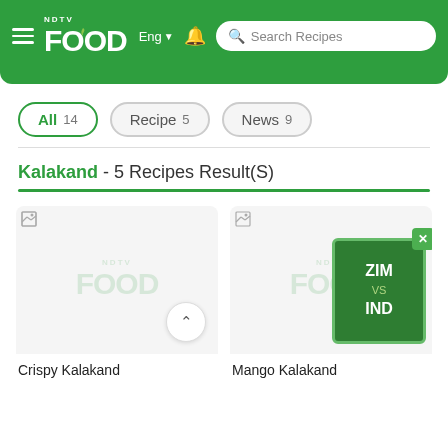[Figure (screenshot): NDTV Food website header with green background, hamburger menu, NDTV Food logo, Eng language selector, bell notification icon, and Search Recipes search bar]
All 14   Recipe 5   News 9
Kalakand - 5 Recipes Result(S)
Crispy Kalakand
Mango Kalakand